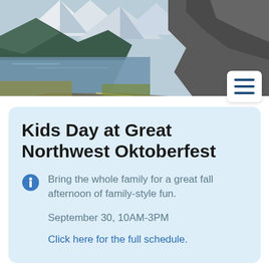[Figure (photo): Mountain landscape with a lake, rocky cliffs, and a winding road in the foreground. Snow-capped peaks visible in background with trees on the left side.]
Kids Day at Great Northwest Oktoberfest
Bring the whole family for a great fall afternoon of family-style fun.
September 30, 10AM-3PM
Click here for the full schedule.